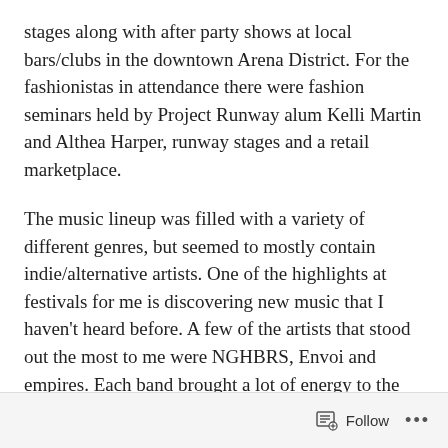stages along with after party shows at local bars/clubs in the downtown Arena District. For the fashionistas in attendance there were fashion seminars held by Project Runway alum Kelli Martin and Althea Harper, runway stages and a retail marketplace.
The music lineup was filled with a variety of different genres, but seemed to mostly contain indie/alternative artists. One of the highlights at festivals for me is discovering new music that I haven't heard before. A few of the artists that stood out the most to me were NGHBRS, Envoi and empires. Each band brought a lot of energy to the stage and left me wanting to hear more of their music.
Follow ...